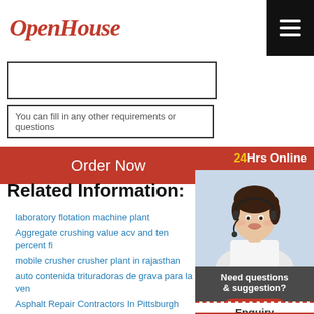[Figure (logo): OpenHouse logo in red italic script font]
You can fill in any other requirements or questions
Order Now
24Hrs Online
[Figure (photo): Customer service representative wearing headset, smiling]
Need questions & suggestion?
Chat Now
Enquiry
mumumugoods
Related Information:
laboratory flotation machine plant
Aggregate crushing value acv and ten percent fi
mobile crusher crusher plant in rajasthan
auto contenida trituradoras de grava para la ven
Asphalt Repair Contractors In Pittsburgh
Jaw Crusher Pe 250x400 With Low Price